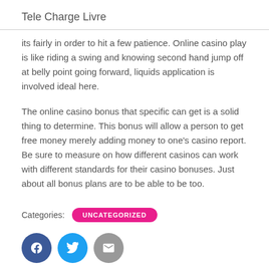Tele Charge Livre
its fairly in order to hit a few patience. Online casino play is like riding a swing and knowing second hand jump off at belly point going forward, liquids application is involved ideal here.
The online casino bonus that specific can get is a solid thing to determine. This bonus will allow a person to get free money merely adding money to one's casino report. Be sure to measure on how different casinos can work with different standards for their casino bonuses. Just about all bonus plans are to be able to be too.
Categories: UNCATEGORIZED
[Figure (other): Social media share icons: Facebook (blue circle), Twitter (light blue circle), Email/share (grey circle)]